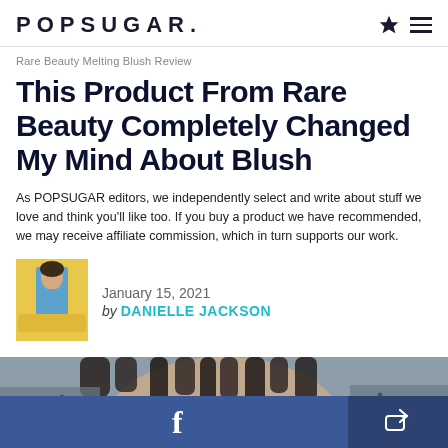POPSUGAR.
Rare Beauty Melting Blush Review
This Product From Rare Beauty Completely Changed My Mind About Blush
As POPSUGAR editors, we independently select and write about stuff we love and think you'll like too. If you buy a product we have recommended, we may receive affiliate commission, which in turn supports our work.
January 15, 2021
by DANIELLE JACKSON
[Figure (photo): Portrait photo of a person standing near a yellow car, wearing a blue outfit]
[Figure (photo): Partial photo of a person's face with braided hair, article lead image]
f [Facebook share button] [Share button]